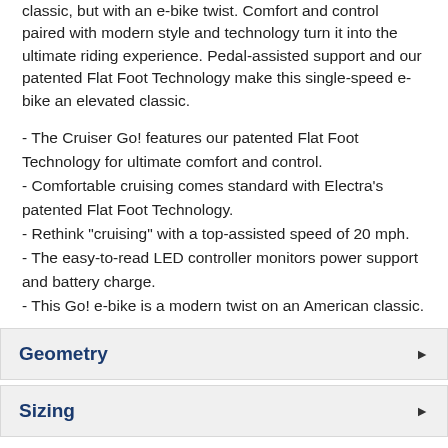classic, but with an e-bike twist. Comfort and control paired with modern style and technology turn it into the ultimate riding experience. Pedal-assisted support and our patented Flat Foot Technology make this single-speed e-bike an elevated classic.
- The Cruiser Go! features our patented Flat Foot Technology for ultimate comfort and control.
- Comfortable cruising comes standard with Electra's patented Flat Foot Technology.
- Rethink "cruising" with a top-assisted speed of 20 mph.
- The easy-to-read LED controller monitors power support and battery charge.
- This Go! e-bike is a modern twist on an American classic.
Geometry
Sizing
Reviews & Ratings